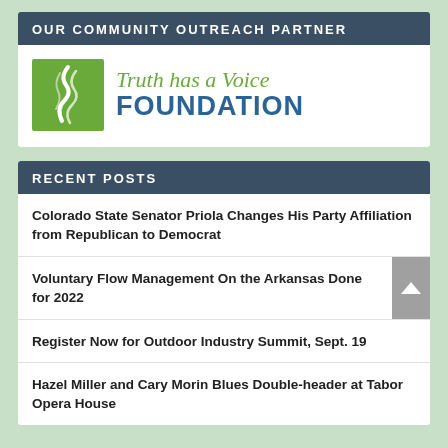OUR COMMUNITY OUTREACH PARTNER
[Figure (logo): Truth has a Voice Foundation logo — green river/path icon on left, 'Truth has a Voice' in green italic serif text and 'FOUNDATION' in large bold blue uppercase text]
RECENT POSTS
Colorado State Senator Priola Changes His Party Affiliation from Republican to Democrat
Voluntary Flow Management On the Arkansas Done for 2022
Register Now for Outdoor Industry Summit, Sept. 19
Hazel Miller and Cary Morin Blues Double-header at Tabor Opera House